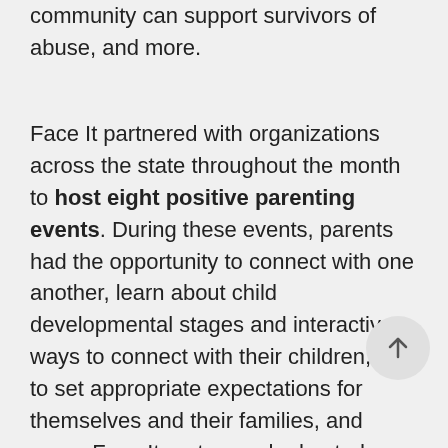community can support survivors of abuse, and more.
Face It partnered with organizations across the state throughout the month to host eight positive parenting events. During these events, parents had the opportunity to connect with one another, learn about child developmental stages and interactive ways to connect with their children, how to set appropriate expectations for themselves and their families, and more. Face It partners who hosted or co-hosted a positive parenting event included The Center, The Sunshine Center, Neighborhood House, Family &